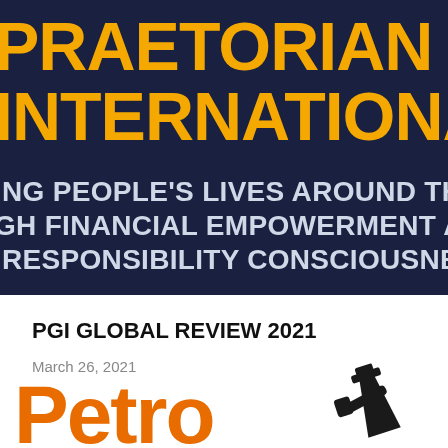[Figure (logo): Praetorian Group International banner with dark navy background, large gold bold text 'PRAETORIAN GROUP INTERNATIONAL' and white bold tagline 'TRANSFORMING PEOPLE'S LIVES AROUND THE WORLD THROUGH FINANCIAL EMPOWERMENT AND RESPONSIBILITY CONSCIOUSNESS.']
PGI GLOBAL REVIEW 2021
March 26, 2021
[Figure (illustration): Partial graphic showing orange bold text beginning with 'Petro' and a black oil derrick silhouette icon in the bottom right corner]